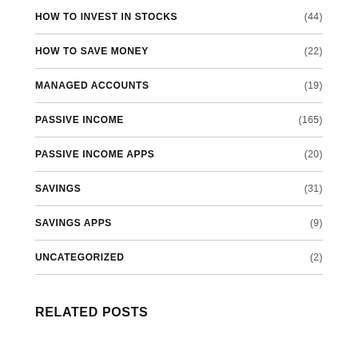HOW TO INVEST IN STOCKS (44)
HOW TO SAVE MONEY (22)
MANAGED ACCOUNTS (19)
PASSIVE INCOME (165)
PASSIVE INCOME APPS (20)
SAVINGS (31)
SAVINGS APPS (9)
UNCATEGORIZED (2)
RELATED POSTS